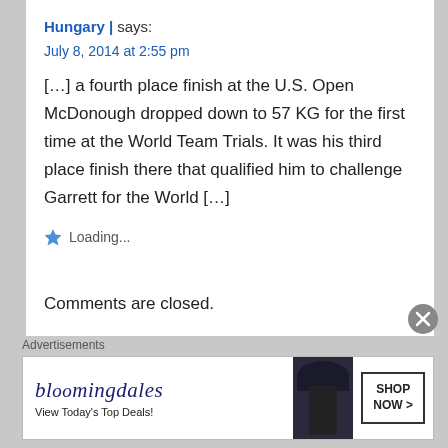Hungary | says:
July 8, 2014 at 2:55 pm
[…] a fourth place finish at the U.S. Open McDonough dropped down to 57 KG for the first time at the World Team Trials. It was his third place finish there that qualified him to challenge Garrett for the World […]
Loading...
Comments are closed.
Advertisements
[Figure (other): Bloomingdale's advertisement banner showing logo, 'View Today's Top Deals!' text, woman in hat, and 'SHOP NOW >' button]